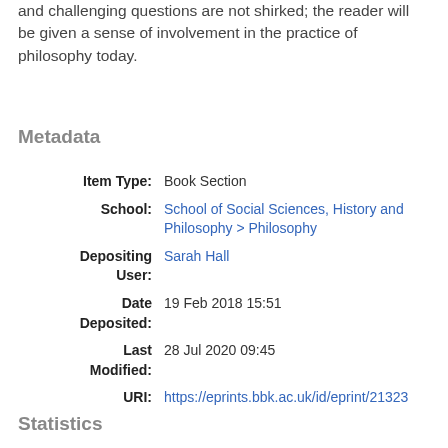and challenging questions are not shirked; the reader will be given a sense of involvement in the practice of philosophy today.
Metadata
| Field | Value |
| --- | --- |
| Item Type: | Book Section |
| School: | School of Social Sciences, History and Philosophy > Philosophy |
| Depositing User: | Sarah Hall |
| Date Deposited: | 19 Feb 2018 15:51 |
| Last Modified: | 28 Jul 2020 09:45 |
| URI: | https://eprints.bbk.ac.uk/id/eprint/21323 |
Statistics